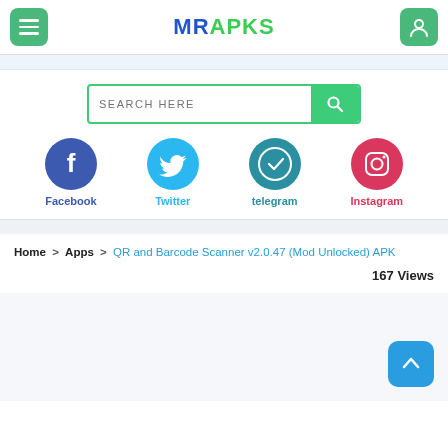MRAPKS
[Figure (screenshot): Search bar with 'SEARCH HERE' placeholder and green search button]
[Figure (infographic): Social media icons: Facebook, Twitter, telegram, Instagram]
Home > Apps > QR and Barcode Scanner v2.0.47 (Mod Unlocked) APK
167 Views
[Figure (other): Back to top arrow button (blue, rounded square)]